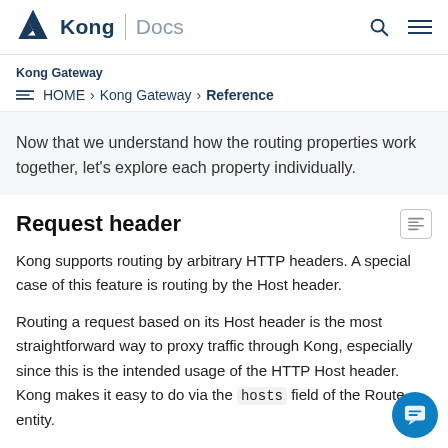Kong | Docs
Kong Gateway
HOME › Kong Gateway › Reference
Now that we understand how the routing properties work together, let's explore each property individually.
Request header
Kong supports routing by arbitrary HTTP headers. A special case of this feature is routing by the Host header.
Routing a request based on its Host header is the most straightforward way to proxy traffic through Kong, especially since this is the intended usage of the HTTP Host header. Kong makes it easy to do via the hosts field of the Route entity.